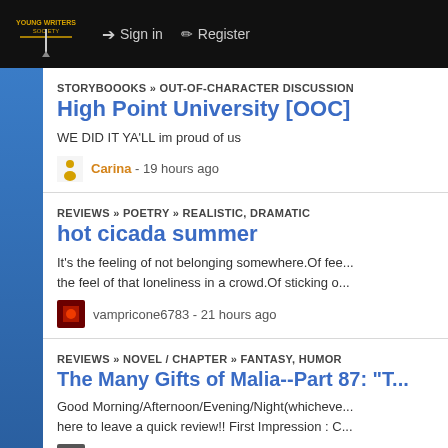Sign in | Register
STORYBOOOKS » OUT-OF-CHARACTER DISCUSSION
High Point University [OOC]
WE DID IT YA'LL im proud of us
Carina - 19 hours ago
REVIEWS » POETRY » REALISTIC, DRAMATIC
hot cicada summer
It's the feeling of not belonging somewhere.Of fee... the feel of that loneliness in a crowd.Of sticking o...
vampricone6783 - 21 hours ago
REVIEWS » NOVEL / CHAPTER » FANTASY, HUMOR
The Many Gifts of Malia--Part 87: "T...
Good Morning/Afternoon/Evening/Night(whicheve... here to leave a quick review!! First Impression : C...
HarryHardy - 23 hours ago